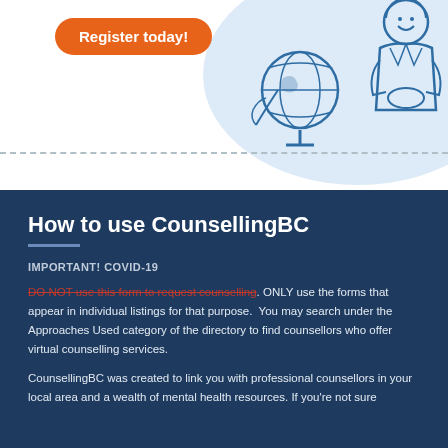[Figure (illustration): Orange 'Register today!' button on top left, decorative illustration of a person with a globe on the right, light blue background circle, dashed horizontal line separating sections]
How to use CounsellingBC
IMPORTANT! COVID-19
DO NOT use this form to request counselling. ONLY use the forms that appear in individual listings for that purpose. You may search under the Approaches Used category of the directory to find counsellors who offer virtual counselling services.
CounsellingBC was created to link you with professional counsellors in your local area and a wealth of mental health resources. If you're not sure where to start with looking for the right counsellor...